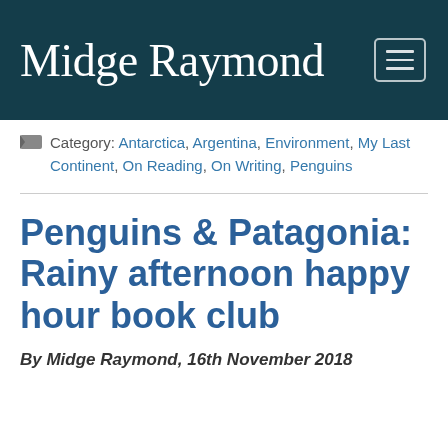Midge Raymond
Category: Antarctica, Argentina, Environment, My Last Continent, On Reading, On Writing, Penguins
Penguins & Patagonia: Rainy afternoon happy hour book club
By Midge Raymond, 16th November 2018